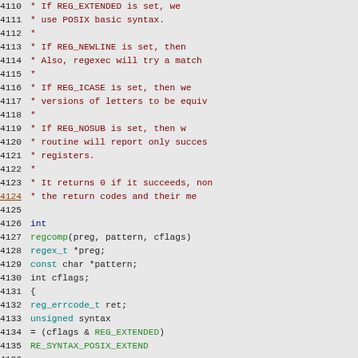[Figure (screenshot): Source code listing showing C code for regcomp function with line numbers 4110-4147. Lines 4110-4124 are comments in dark red, lines 4126-4131 show function signature in black/blue, lines 4132-4147 show function body with keywords in blue/teal and comments in dark red.]